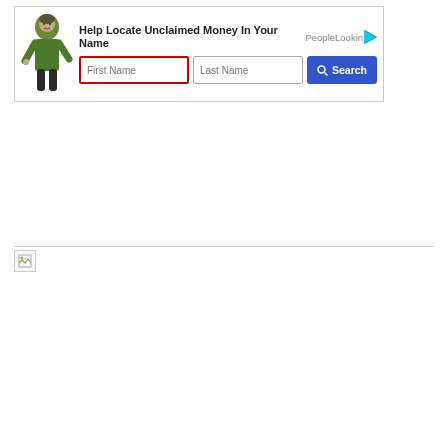[Figure (screenshot): Advertisement banner: 'Help Locate Unclaimed Money In Your Name' with PeopleLooker branding, a figure of a man, input fields for First Name and Last Name, and a Search button. First Name field has a red border highlight.]
[Figure (other): Broken image icon with a horizontal rule line above it, showing a small broken image placeholder in the top-left corner.]